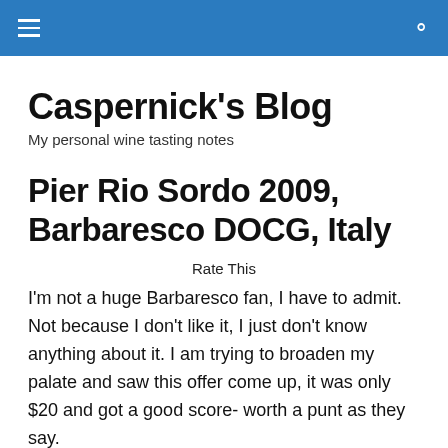≡ 🔍
Caspernick's Blog
My personal wine tasting notes
Pier Rio Sordo 2009, Barbaresco DOCG, Italy
Rate This
I'm not a huge Barbaresco fan, I have to admit.  Not because I don't like it, I just don't know anything about it.  I am trying to broaden  my palate and saw this offer come up, it was only $20 and got a good score- worth a punt as they say.